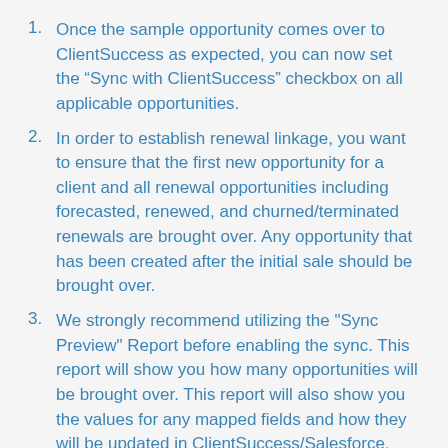Once the sample opportunity comes over to ClientSuccess as expected, you can now set the “Sync with ClientSuccess” checkbox on all applicable opportunities.
In order to establish renewal linkage, you want to ensure that the first new opportunity for a client and all renewal opportunities including forecasted, renewed, and churned/terminated renewals are brought over. Any opportunity that has been created after the initial sale should be brought over.
We strongly recommend utilizing the "Sync Preview" Report before enabling the sync. This report will show you how many opportunities will be brought over. This report will also show you the values for any mapped fields and how they will be updated in ClientSuccess/Salesforce.
Please work with your CSM to pull over all applicable